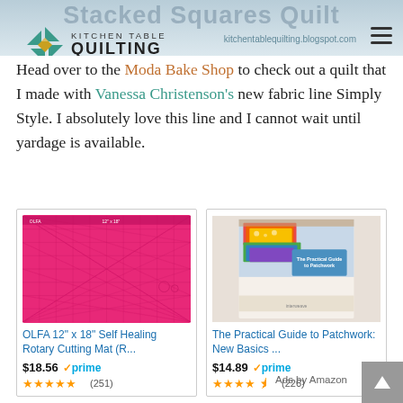Stacked Squares Quilt — Kitchen Table Quilting — kitchentablequilting.blogspot.com
Head over to the Moda Bake Shop to check out a quilt that I made with Vanessa Christenson's new fabric line Simply Style.  I absolutely love this line and I cannot wait until yardage is available.
[Figure (photo): OLFA 12" x 18" Self Healing Rotary Cutting Mat product image - pink mat with grid lines]
OLFA 12" x 18" Self Healing Rotary Cutting Mat (R...
$18.56  ✓prime  ★★★★★ (251)
[Figure (photo): The Practical Guide to Patchwork book cover showing colorful quilts]
The Practical Guide to Patchwork: New Basics ...
$14.89  ✓prime  ★★★★☆ (226)
Ads by Amazon